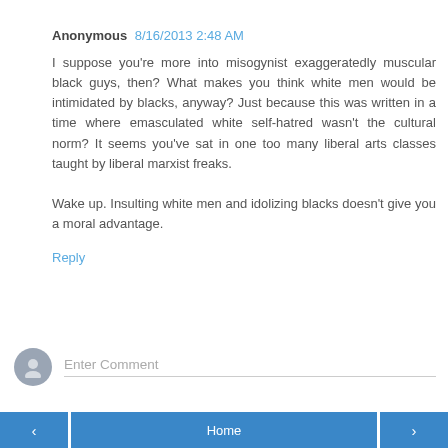Anonymous 8/16/2013 2:48 AM
I suppose you're more into misogynist exaggeratedly muscular black guys, then? What makes you think white men would be intimidated by blacks, anyway? Just because this was written in a time where emasculated white self-hatred wasn't the cultural norm? It seems you've sat in one too many liberal arts classes taught by liberal marxist freaks.

Wake up. Insulting white men and idolizing blacks doesn't give you a moral advantage.
Reply
Enter Comment
< Home >